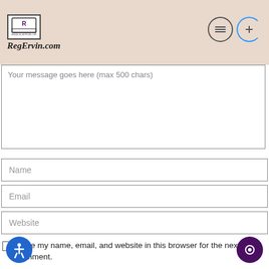RegErvin.com
Your message goes here (max 500 chars)
Name
Email
Website
Save my name, email, and website in this browser for the next time I comment.